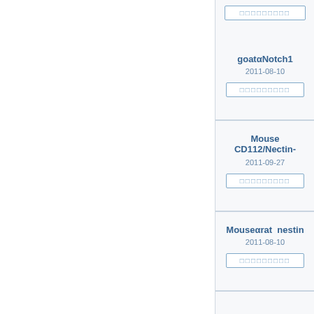□□□□□□□□□
goatαNotch1
2011-08-10
□□□□□□□□□
Mouse CD112/Nectin-
2011-09-27
□□□□□□□□□
Mouseαrat  nestin
2011-08-10
□□□□□□□□□